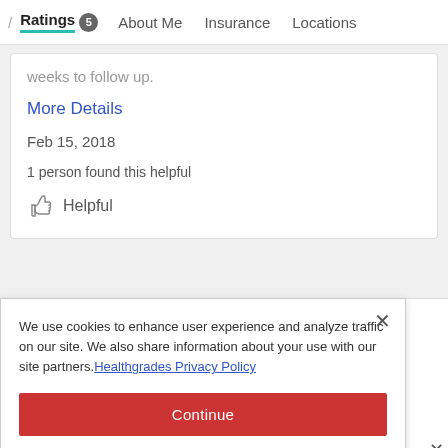/ Ratings 5  About Me  Insurance  Locations
weeks to follow up.
More Details
Feb 15, 2018
1 person found this helpful
Helpful
We use cookies to enhance user experience and analyze traffic on our site. We also share information about your use with our site partners. Healthgrades Privacy Policy
Continue
Access my Privacy Preferences
Flag
ne the
de sure I
ease. I
More Details